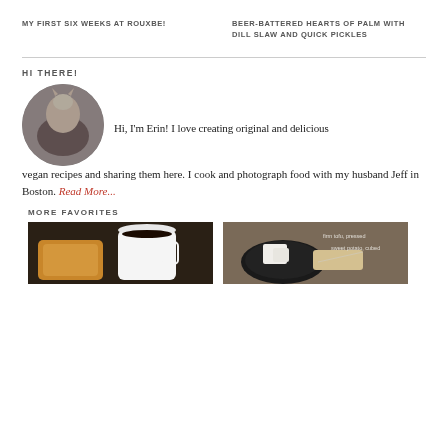MY FIRST SIX WEEKS AT ROUXBE!
BEER-BATTERED HEARTS OF PALM WITH DILL SLAW AND QUICK PICKLES
HI THERE!
[Figure (photo): Circular profile photo of Erin holding a cat]
Hi, I'm Erin! I love creating original and delicious vegan recipes and sharing them here. I cook and photograph food with my husband Jeff in Boston. Read More...
MORE FAVORITES
[Figure (photo): Photo of a pastry and coffee cup]
[Figure (photo): Photo of tofu and potato dish with text labels]